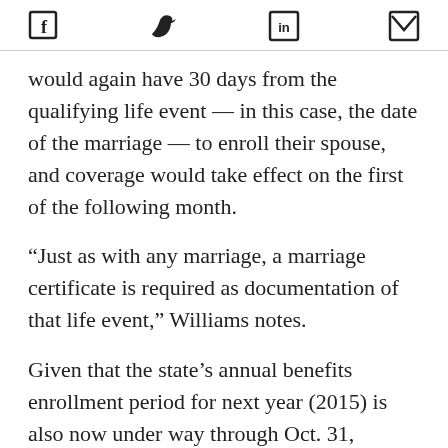[Social icons: Facebook, Twitter, LinkedIn, Email]
would again have 30 days from the qualifying life event — in this case, the date of the marriage — to enroll their spouse, and coverage would take effect on the first of the following month.
“Just as with any marriage, a marriage certificate is required as documentation of that life event,” Williams notes.
Given that the state’s annual benefits enrollment period for next year (2015) is also now under way through Oct. 31, employees may elect spouse coverage now as a qualifying event, or they may enroll their spouse during annual enrollment for